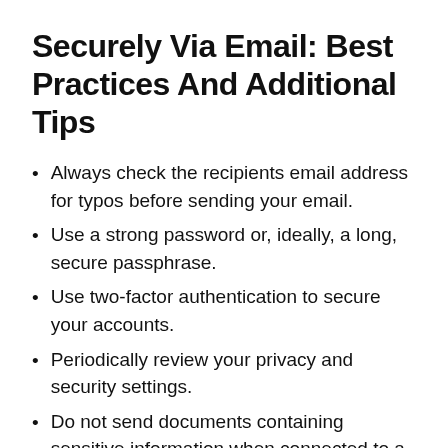Securely Via Email: Best Practices And Additional Tips
Always check the recipients email address for typos before sending your email.
Use a strong password or, ideally, a long, secure passphrase.
Use two-factor authentication to secure your accounts.
Periodically review your privacy and security settings.
Do not send documents containing sensitive information when connected to a public network.
Only send sensitive data via secure, encrypted messages.
Use a dedicated email platform for your business